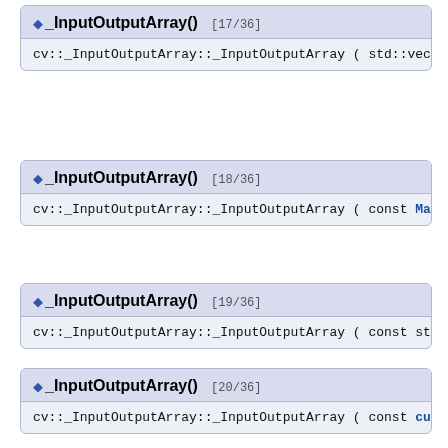◆ _InputOutputArray() [17/36]
cv::_InputOutputArray::_InputOutputArray ( std::vector< UMat > & v
◆ _InputOutputArray() [18/36]
cv::_InputOutputArray::_InputOutputArray ( const Mat & m )
◆ _InputOutputArray() [19/36]
cv::_InputOutputArray::_InputOutputArray ( const std::vector< Mat >
◆ _InputOutputArray() [20/36]
cv::_InputOutputArray::_InputOutputArray ( const cuda::GpuMat &